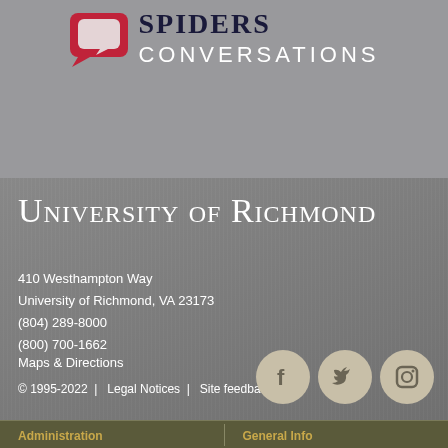[Figure (logo): Spiders Conversations logo — red speech bubble icon with 'CONVERSATIONS' text in white capitals]
University of Richmond
410 Westhampton Way
University of Richmond, VA 23173
(804) 289-8000
(800) 700-1662
Maps & Directions
© 1995-2022  |   Legal Notices  |   Site feedback
[Figure (logo): Facebook, Twitter, and Instagram social media icons in beige/tan circles]
Administration
General Info